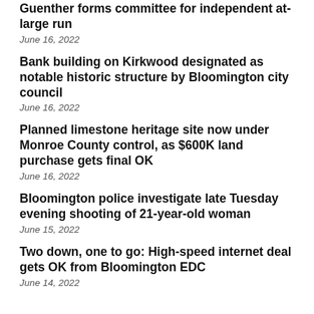Guenther forms committee for independent at-large run
June 16, 2022
Bank building on Kirkwood designated as notable historic structure by Bloomington city council
June 16, 2022
Planned limestone heritage site now under Monroe County control, as $600K land purchase gets final OK
June 16, 2022
Bloomington police investigate late Tuesday evening shooting of 21-year-old woman
June 15, 2022
Two down, one to go: High-speed internet deal gets OK from Bloomington EDC
June 14, 2022